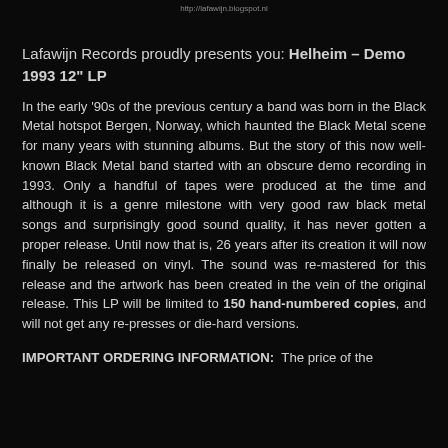http://lafawijn.blogspot.nl
Lafawijn Records proudly presents you: Helheim – Demo 1993 12" LP
In the early '90s of the previous century a band was born in the Black Metal hotspot Bergen, Norway, which haunted the Black Metal scene for many years with stunning albums. But the story of this now well-known Black Metal band started with an obscure demo recording in 1993. Only a handful of tapes were produced at the time and although it is a genre milestone with very good raw black metal songs and surprisingly good sound quality, it has never gotten a proper release. Until now that is, 26 years after its creation it will now finally be released on vinyl. The sound was re-mastered for this release and the artwork has been created in the vein of the original release. This LP will be limited to 150 hand-numbered copies, and will not get any re-presses or die-hard versions.
IMPORTANT ORDERING INFORMATION:  The price of the